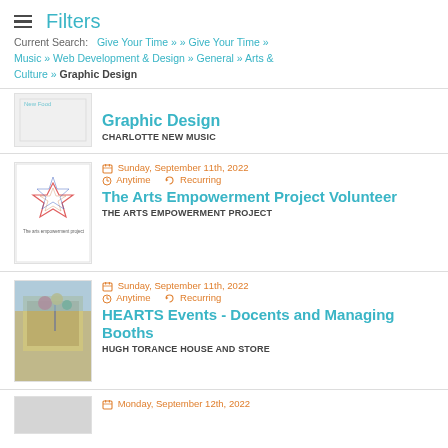≡ Filters
Current Search: Give Your Time » » Give Your Time » Music » Web Development & Design » General » Arts & Culture » Graphic Design
Graphic Design
CHARLOTTE NEW MUSIC
Sunday, September 11th, 2022
Anytime  Recurring
The Arts Empowerment Project Volunteer
THE ARTS EMPOWERMENT PROJECT
Sunday, September 11th, 2022
Anytime  Recurring
HEARTS Events - Docents and Managing Booths
HUGH TORANCE HOUSE AND STORE
Monday, September 12th, 2022...